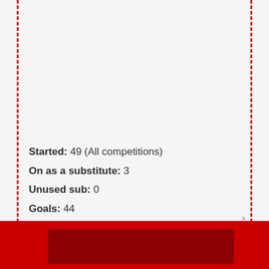Started: 49 (All competitions)
On as a substitute: 3
Unused sub: 0
Goals: 44
Assists: 14
Average TIA Player Rating: 7.32 (Rank = 2nd)